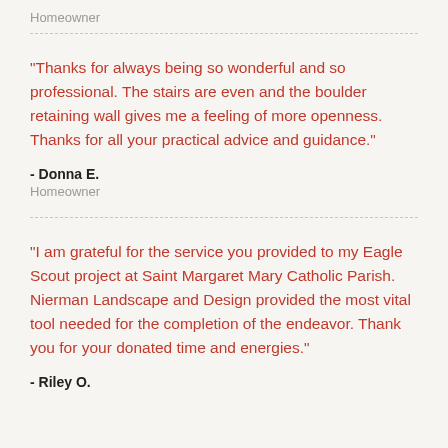Homeowner
“Thanks for always being so wonderful and so professional. The stairs are even and the boulder retaining wall gives me a feeling of more openness. Thanks for all your practical advice and guidance.”
- Donna E.
Homeowner
“I am grateful for the service you provided to my Eagle Scout project at Saint Margaret Mary Catholic Parish. Nierman Landscape and Design provided the most vital tool needed for the completion of the endeavor. Thank you for your donated time and energies.”
- Riley O.